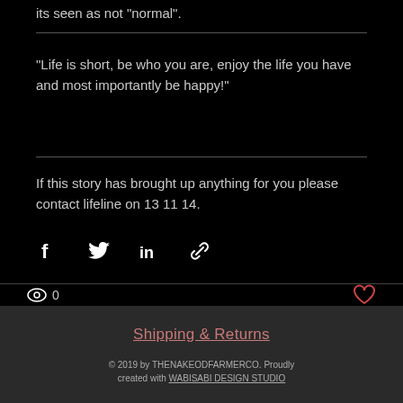its seen as not "normal".
"Life is short, be who you are, enjoy the life you have and most importantly be happy!"
If this story has brought up anything for you please contact lifeline on 13 11 14.
[Figure (other): Social share icons: Facebook, Twitter, LinkedIn, link/chain icon]
0
Shipping & Returns
© 2019 by THENAKEODFARMERCO. Proudly created with WABISABI DESIGN STUDIO